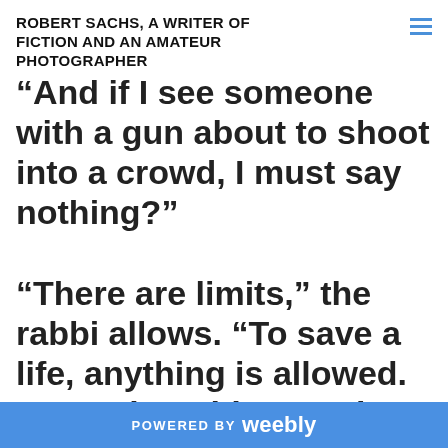ROBERT SACHS, A WRITER OF FICTION AND AN AMATEUR PHOTOGRAPHER
“And if I see someone with a gun about to shoot into a crowd, I must say nothing?”

“There are limits,” the rabbi allows. “To save a life, anything is allowed. But Maimonides teaches to vilify another, even if factual, is a sin. So, Cogan,
POWERED BY weebly